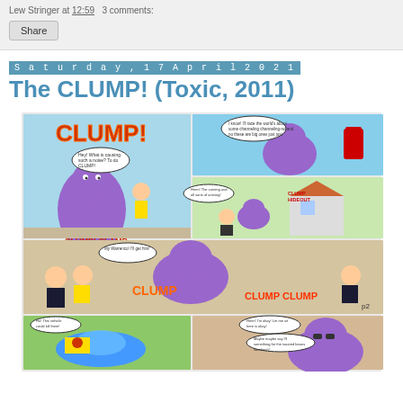Lew Stringer at 12:59   3 comments:
Share
Saturday, 17 April 2021
The CLUMP! (Toxic, 2011)
[Figure (illustration): Comic strip pages from 'The CLUMP!' published in Toxic magazine in 2011. A large purple monster character (Clump) is featured in various humorous scenes with humans including children and police officers. The strip shows multiple panels across three visible rows.]